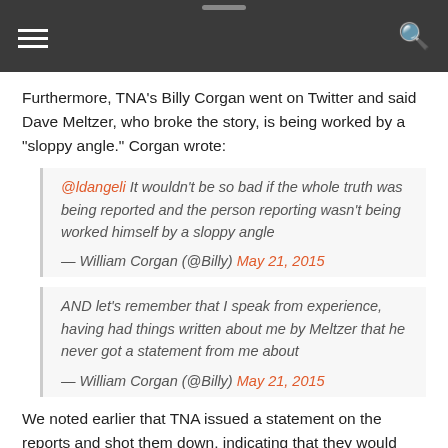Furthermore, TNA's Billy Corgan went on Twitter and said Dave Meltzer, who broke the story, is being worked by a “sloppy angle.” Corgan wrote:
@ldangeli It wouldn't be so bad if the whole truth was being reported and the person reporting wasn't being worked himself by a sloppy angle
— William Corgan (@Billy) May 21, 2015
AND let's remember that I speak from experience, having had things written about me by Meltzer that he never got a statement from me about
— William Corgan (@Billy) May 21, 2015
We noted earlier that TNA issued a statement on the reports and shot them down, indicating that they would pursue legal action. Meltzer replied to the statement on Twitter responding to a fan: